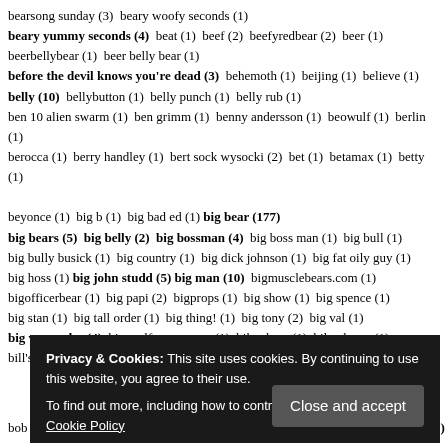bearsong sunday (3) beary woofy seconds (1) beary yummy seconds (4) beat (1) beef (2) beefyredbear (2) beer (1) beerbellybear (1) beer belly bear (1) before the devil knows you're dead (3) behemoth (1) beijing (1) believe (1) belly (10) bellybutton (1) belly punch (1) belly rub (1) ben 10 alien swarm (1) ben grimm (1) benny andersson (1) beowulf (1) berlin (1) berocca (1) berry handley (1) bert sock wysocki (2) bet (1) betamax (1) betty (1) beyonce (1) big b (1) big bad ed (1) big bear (177) big bears (5) big belly (2) big bossman (4) big boss man (1) big bull (1) big bully busick (1) big country (1) big dick johnson (1) big fat oily guy (1) big hoss (1) big john studd (5) big man (10) bigmusclebears.com (1) bigofficerbear (1) big papi (2) bigprops (1) big show (1) big spence (1) big stan (1) big tall order (1) big thing! (1) big tony (2) big val (1) big van vader (4) big wolf on campus (1) biker bear (1) biker bears (1) bill's smash mouth fanpage (1) bill coronel's a.i. visual analysis (1)
[Figure (screenshot): Cookie consent popup overlay with dark background. Text: 'Privacy & Cookies: This site uses cookies. By continuing to use this website, you agree to their use. To find out more, including how to control cookies, see here: Cookie Policy'. Button labeled 'Close and accept'.]
bob wickman (1) bodies (1) bodybuilder (2) bodybuilders (1) bodybuilding (1)